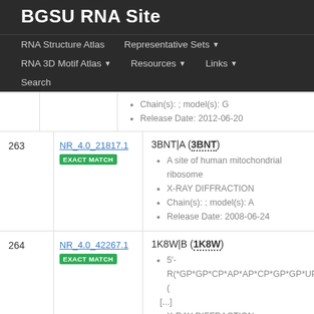BGSU RNA Site
RNA Structure Atlas
Representative Sets
RNA 3D Motif Atlas
Resources
Links
Search
Chain(s): ; model(s): G
Release Date: 2012-06-20
| # | ID | Details |
| --- | --- | --- |
| 263 | NR_4.0_21817.1 EXACT MATCH | 3BNT|A (3BNT)
• A site of human mitochondrial ribosome
• X-RAY DIFFRACTION
• Chain(s): ; model(s): A
• Release Date: 2008-06-24 |
| 264 | NR_4.0_42267.1 EXACT MATCH | 1K8W|B (1K8W)
• 5'-R(*GP*GP*CP*AP*AP*CP*GP*GP*UP*( [...]
• X-RAY DIFFRACTION
• Chain(s): ; model(s): B
• Release Date: 2001-12-31 |